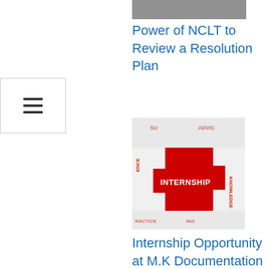[Figure (photo): Partial view of a book or document on a surface]
Power of NCLT to Review a Resolution Plan
[Figure (illustration): Puzzle pieces with red center piece labeled INTERNSHIP and surrounding white pieces with words ADVICE, KNOWLEDGE, PRACTICE]
Internship Opportunity at M.K Documentation Center
[Figure (infographic): Internship mind-map diagram with central INTERNSHIP text and surrounding nodes: GOAL, SKILL, MENTOR, OPPORTUNITY, KNOWLEDGE, PRACTICE, with gear and target icons]